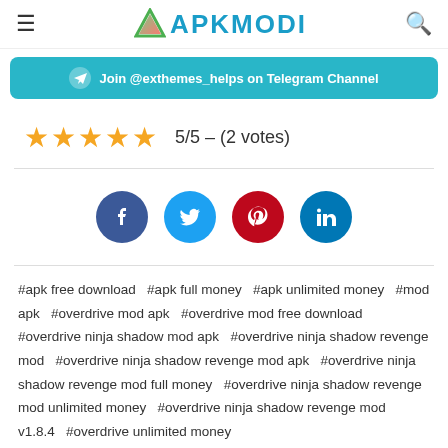APKMODI
[Figure (infographic): Telegram channel banner: Join @exthemes_helps on Telegram Channel]
5/5 – (2 votes)
[Figure (infographic): Social share buttons: Facebook, Twitter, Pinterest, LinkedIn]
#apk free download  #apk full money  #apk unlimited money  #mod apk  #overdrive mod apk  #overdrive mod free download  #overdrive ninja shadow mod apk  #overdrive ninja shadow revenge mod  #overdrive ninja shadow revenge mod apk  #overdrive ninja shadow revenge mod full money  #overdrive ninja shadow revenge mod unlimited money  #overdrive ninja shadow revenge mod v1.8.4  #overdrive unlimited money
Recommended for You